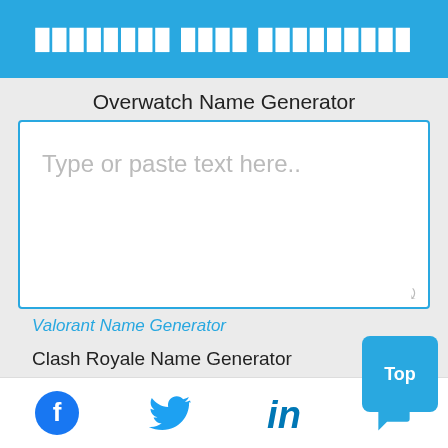Overwatch Name Generator (header bar with pixel-style text)
Overwatch Name Generator
[Figure (screenshot): Text input box with placeholder text 'Type or paste text here..']
Valorant Name Generator
Clash Royale Name Generator
Crossout Name Generator
Fall Guys Name Generator
Helvetica Font Generator
LoL Stylish Name Generator
Meme Font Generator
Monster Hunter Name Generator
Social icons: Facebook, Twitter, LinkedIn, Chat | Top button